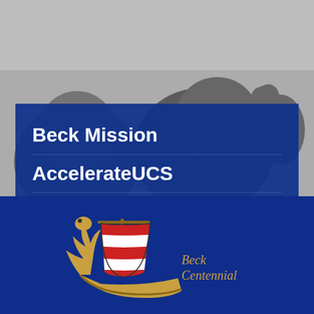[Figure (photo): Black and white background photo of students in a classroom looking upward]
Beck Mission
AccelerateUCS
UCS Mission and Vision
[Figure (logo): Beck Centennial logo featuring a Viking longship with red and white striped sail in blue, gold dragon prow, with text 'Beck Centennial' to the right]